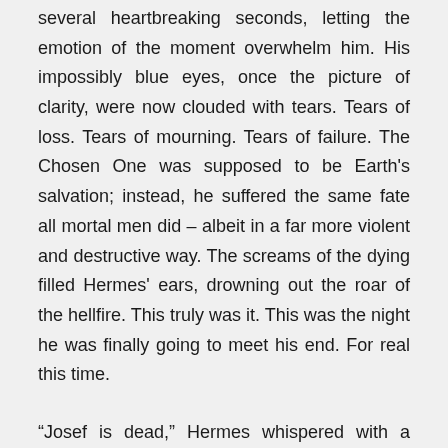several heartbreaking seconds, letting the emotion of the moment overwhelm him. His impossibly blue eyes, once the picture of clarity, were now clouded with tears. Tears of loss. Tears of mourning. Tears of failure. The Chosen One was supposed to be Earth's salvation; instead, he suffered the same fate all mortal men did – albeit in a far more violent and destructive way. The screams of the dying filled Hermes' ears, drowning out the roar of the hellfire. This truly was it. This was the night he was finally going to meet his end. For real this time.
“Josef is dead,” Hermes whispered with a shake of his head, staring skyward. A dragon roared by, one wing twice his size. Were the beast focused on Hermes, it would have itself an easy meal. Instead, the dragon swooped down low, gathering two Divine warriors into